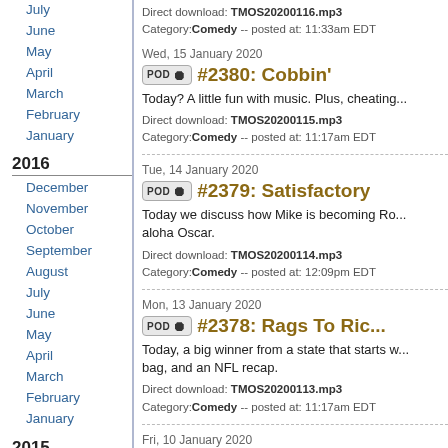July
June
May
April
March
February
January
2016
December
November
October
September
August
July
June
May
April
March
February
January
2015
December
November
October
September
August
July
June
May
April
March
Direct download: TMOS20200116.mp3
Category:Comedy -- posted at: 11:33am EDT
Wed, 15 January 2020
#2380: Cobbin'
Today? A little fun with music. Plus, cheating...
Direct download: TMOS20200115.mp3
Category:Comedy -- posted at: 11:17am EDT
Tue, 14 January 2020
#2379: Satisfactory
Today we discuss how Mike is becoming Ro... aloha Oscar.
Direct download: TMOS20200114.mp3
Category:Comedy -- posted at: 12:09pm EDT
Mon, 13 January 2020
#2378: Rags To Rich...
Today, a big winner from a state that starts w... bag, and an NFL recap.
Direct download: TMOS20200113.mp3
Category:Comedy -- posted at: 11:17am EDT
Fri, 10 January 2020
#2377: The Man Tha...